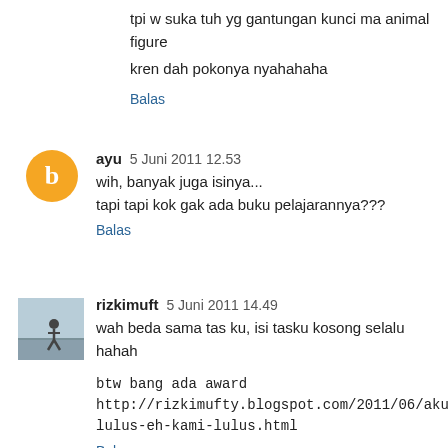tpi w suka tuh yg gantungan kunci ma animal figure
kren dah pokonya nyahahaha
Balas
ayu  5 Juni 2011 12.53
wih, banyak juga isinya...
tapi tapi kok gak ada buku pelajarannya???
Balas
rizkimuft  5 Juni 2011 14.49
wah beda sama tas ku, isi tasku kosong selalu hahah
btw bang ada award http://rizkimufty.blogspot.com/2011/06/aku-lulus-eh-kami-lulus.html
Balas